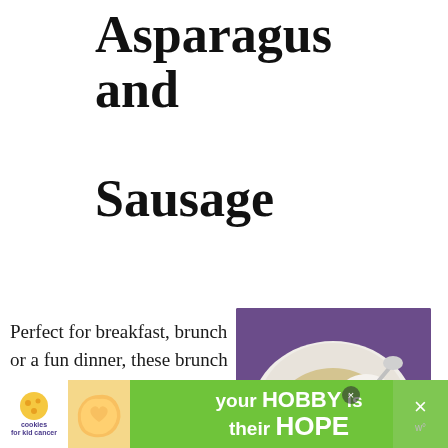Asparagus and Sausage
Perfect for breakfast, brunch or a fun dinner, these brunch bowls are full of flavor. The egg goes so well with the Parmesan polenta for a
[Figure (photo): A white bowl with asparagus, sausage, poached egg with runny yolk, and polenta, on a purple cloth background]
WHAT'S NEXT → Creamy Chicken and...
5.0 Stars (5 Reviews)
[Figure (infographic): Advertisement banner: cookies for kid cancer logo, heart-shaped cookie image, 'your HOBBY is their HOPE' slogan on green background]